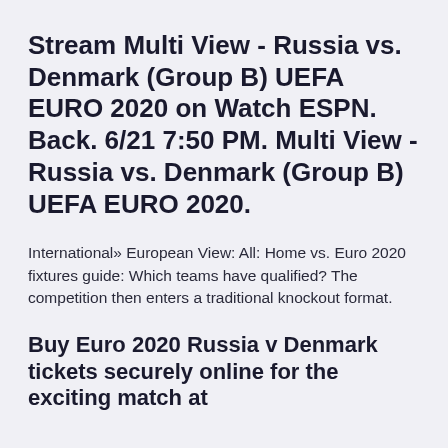Stream Multi View - Russia vs. Denmark (Group B) UEFA EURO 2020 on Watch ESPN. Back. 6/21 7:50 PM. Multi View - Russia vs. Denmark (Group B) UEFA EURO 2020.
International» European View: All: Home vs. Euro 2020 fixtures guide: Which teams have qualified? The competition then enters a traditional knockout format.
Buy Euro 2020 Russia v Denmark tickets securely online for the exciting match at